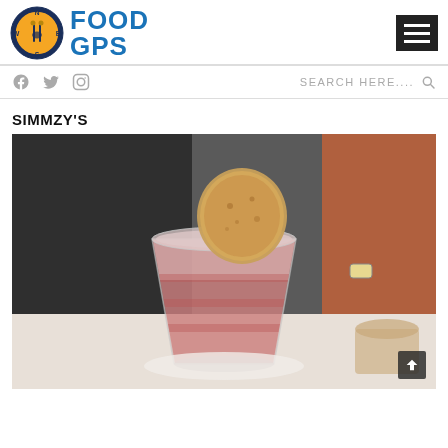[Figure (logo): Food GPS website logo with compass/fork icon and blue FOOD GPS text, plus hamburger menu button on the right]
f  twitter  instagram   SEARCH HERE....  🔍
SIMMZY'S
[Figure (photo): Close-up photo of a pink/red slushy drink in a clear plastic cup with a large round cookie or biscuit placed on top of the cup, set on a white surface with blurred people and other cups in the background]